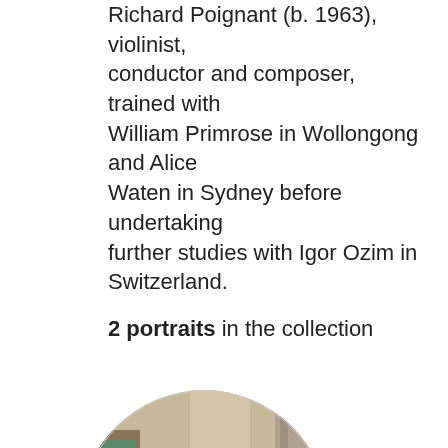Richard Poignant (b. 1963), violinist, conductor and composer, trained with William Primrose in Wollongong and Alice Waten in Sydney before undertaking further studies with Igor Ozim in Switzerland.
2 portraits in the collection
[Figure (photo): Circular cropped portrait painting of a man dressed in dark clothing, seated in a chair, holding papers, with a bookcase and draped curtain in the background.]